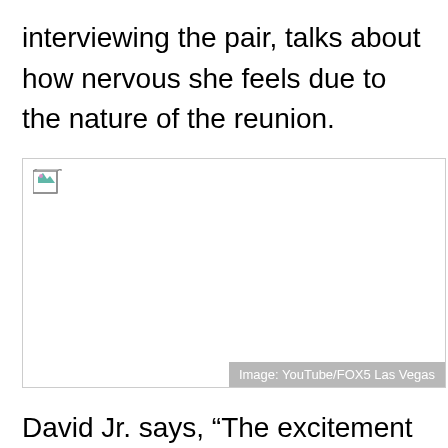interviewing the pair, talks about how nervous she feels due to the nature of the reunion.
[Figure (photo): Broken/missing image placeholder with caption overlay reading 'Image: YouTube/FOX5 Las Vegas']
Image: YouTube/FOX5 Las Vegas
David Jr. says, “The excitement I feel inside, I can’t describe it. It’s something